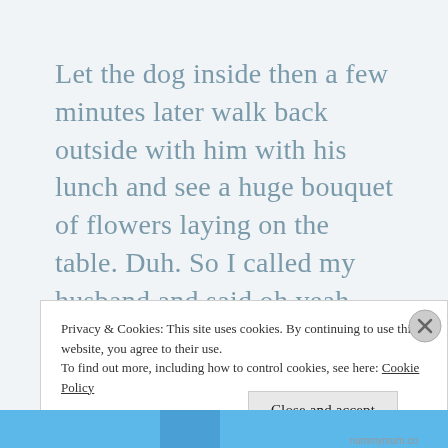Let the dog inside then a few minutes later walk back outside with him with his lunch and see a huge bouquet of flowers laying on the table. Duh. So I called my husband and said oh yeah, saw the flowers. Sorry I am oblivious! He also gave me a new watch which was greatly appreciated because I just busted the crystal out of my watch the day
Privacy & Cookies: This site uses cookies. By continuing to use this website, you agree to their use.
To find out more, including how to control cookies, see here: Cookie Policy
Close and accept